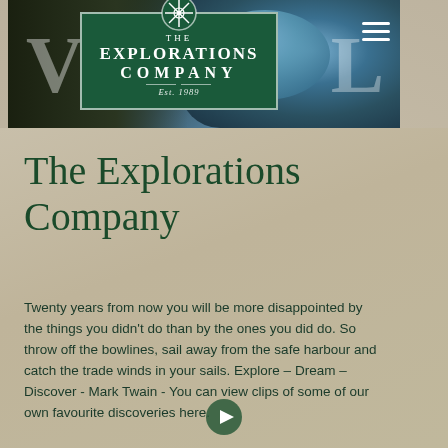[Figure (screenshot): Hero banner image showing Earth from space with dark cosmic background. Company logo box in dark green with white text reading THE EXPLORATIONS COMPANY Est. 1989, centered in the banner. Hamburger menu icon in top right.]
The Explorations Company
Twenty years from now you will be more disappointed by the things you didn't do than by the ones you did do. So throw off the bowlines, sail away from the safe harbour and catch the trade winds in your sails. Explore – Dream – Discover - Mark Twain - You can view clips of some of our own favourite discoveries here.